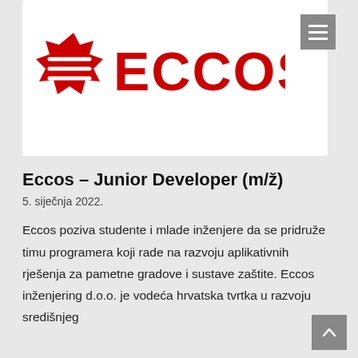[Figure (logo): ECCOS company logo — red star-shaped badge with three horizontal lines on the left, and red text 'ECCOS' on the right, on a white background]
Eccos – Junior Developer (m/ž)
5. siječnja 2022.
Eccos poziva studente i mlade inženjere da se pridruže timu programera koji rade na razvoju aplikativnih rješenja za pametne gradove i sustave zaštite. Eccos inženjering d.o.o. je vodeća hrvatska tvrtka u razvoju središnjeg